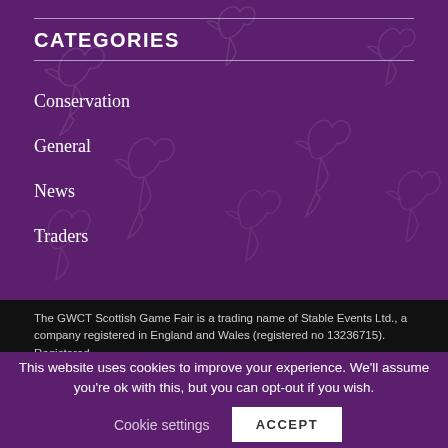CATEGORIES
Conservation
General
News
Traders
The GWCT Scottish Game Fair is a trading name of Stable Events Ltd., a company registered in England and Wales (registered no 13236715). Registered
This website uses cookies to improve your experience. We'll assume you're ok with this, but you can opt-out if you wish.
Cookie settings
ACCEPT